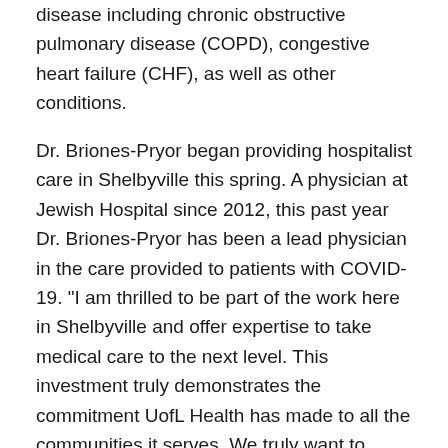disease including chronic obstructive pulmonary disease (COPD), congestive heart failure (CHF), as well as other conditions.
Dr. Briones-Pryor began providing hospitalist care in Shelbyville this spring. A physician at Jewish Hospital since 2012, this past year Dr. Briones-Pryor has been a lead physician in the care provided to patients with COVID-19. "I am thrilled to be part of the work here in Shelbyville and offer expertise to take medical care to the next level. This investment truly demonstrates the commitment UofL Health has made to all the communities it serves. We truly want to provide the best possible care to the citizens of Shelbyville and surrounding counties without having to leave home."
So far, UofL Health has invested $650,000 in the Shelbyville Hospital ICU.
Dr. Pfister comes to the Shelbyville Hospital from Florida